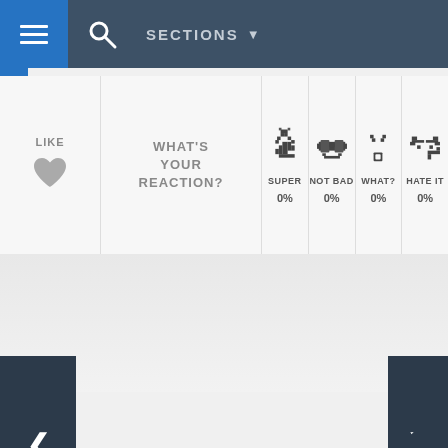[Figure (screenshot): Website navigation bar with hamburger menu icon, search icon, and SECTIONS dropdown on dark blue-gray background]
[Figure (infographic): Reaction bar with LIKE heart, WHAT'S YOUR REACTION?, SUPER 0%, NOT BAD 0%, WHAT? 0%, HATE IT 0% options with emoji icons]
[Figure (screenshot): Carousel navigation with left and right arrow buttons on dark background, gray content area in middle]